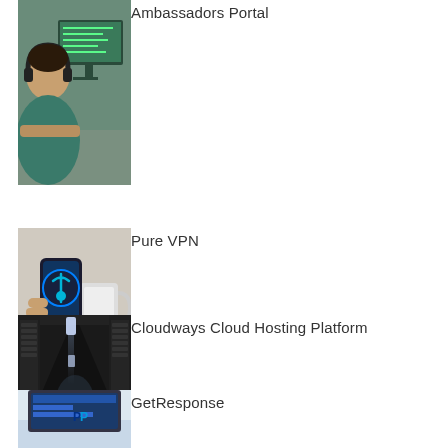[Figure (photo): Person with headphones sitting at a computer desk]
Ambassadors Portal
[Figure (photo): Hand holding a smartphone with VPN app open, mug in background]
Pure VPN
[Figure (photo): Server room hallway with overhead lights and dark server racks]
Cloudways Cloud Hosting Platform
[Figure (photo): Laptop screen partially visible showing a blue interface]
GetResponse